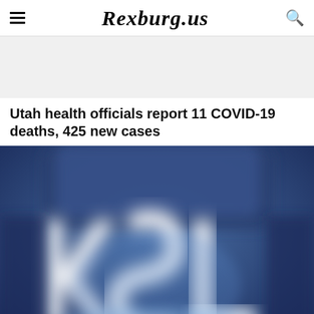Rexburg.us
[Figure (other): Gray advertisement banner placeholder]
Utah health officials report 11 COVID-19 deaths, 425 new cases
[Figure (photo): Blurred KSL logo image with blue background, white KSL letters glowing]